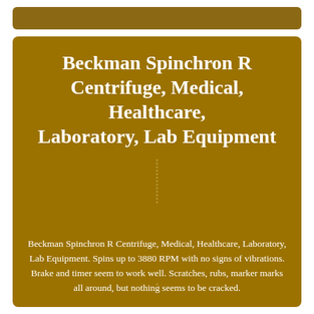Beckman Spinchron R Centrifuge, Medical, Healthcare, Laboratory, Lab Equipment
Beckman Spinchron R Centrifuge, Medical, Healthcare, Laboratory, Lab Equipment. Spins up to 3880 RPM with no signs of vibrations. Brake and timer seem to work well. Scratches, rubs, marker marks all around, but nothing seems to be cracked.